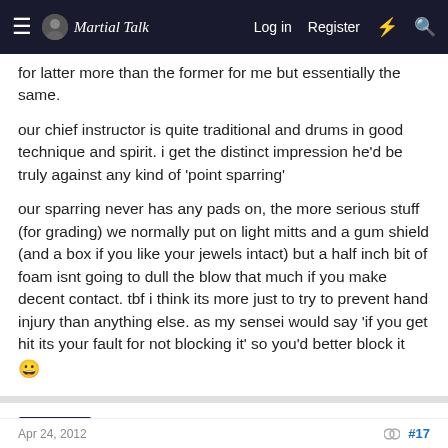Martial Talk — Log in   Register
for latter more than the former for me but essentially the same.
our chief instructor is quite traditional and drums in good technique and spirit. i get the distinct impression he'd be truly against any kind of 'point sparring'
our sparring never has any pads on, the more serious stuff (for grading) we normally put on light mitts and a gum shield (and a box if you like your jewels intact) but a half inch bit of foam isnt going to dull the blow that much if you make decent contact. tbf i think its more just to try to prevent hand injury than anything else. as my sensei would say 'if you get hit its your fault for not blocking it' so you'd better block it 😀
chinto
Senior Master
Apr 24, 2012   #17